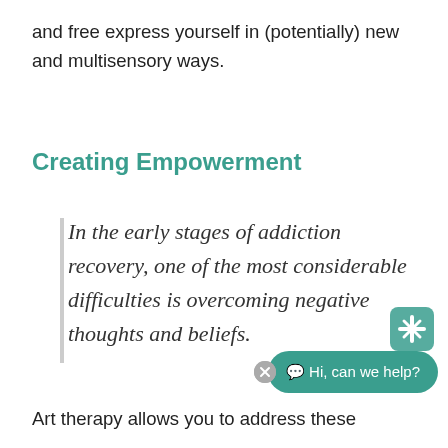and free express yourself in (potentially) new and multisensory ways.
Creating Empowerment
In the early stages of addiction recovery, one of the most considerable difficulties is overcoming negative thoughts and beliefs.
Art therapy allows you to address these